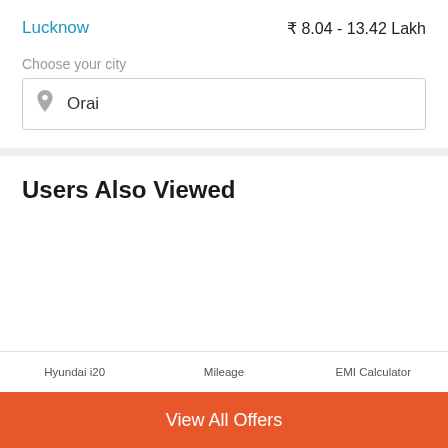Lucknow   ₹ 8.04 - 13.42 Lakh
Choose your city
Orai
Users Also Viewed
Hyundai i20   Mileage   EMI Calculator
View All Offers